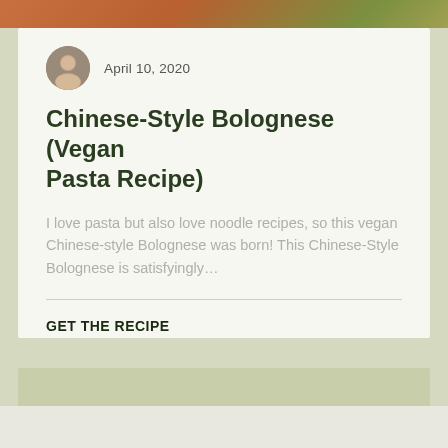[Figure (photo): Top edge of food photo showing pasta/noodle dish with orange and green tones]
April 10, 2020
Chinese-Style Bolognese (Vegan Pasta Recipe)
I love pasta but also love noodle recipes, so this vegan Chinese-style Bolognese was born! This Chinese-Style Bolognese is satisfyingly…
GET THE RECIPE